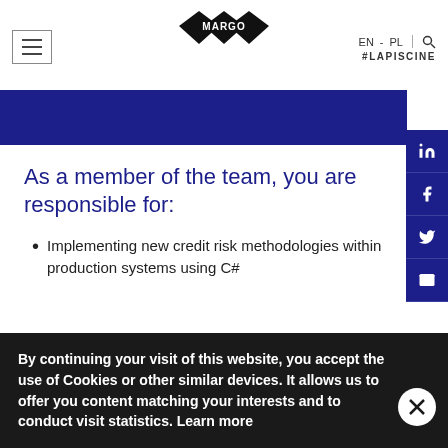[Figure (logo): MARGO logo made of diamond shapes in black with white text]
EN - PL | 🔍
#LAPISCINE
As a member of the team, you are responsible for:
Implementing new credit risk methodologies within production systems using C#
By continuing your visit of this website, you accept the use of Cookies or other similar devices. It allows us to offer you content matching your interests and to conduct visit statistics. Learn more